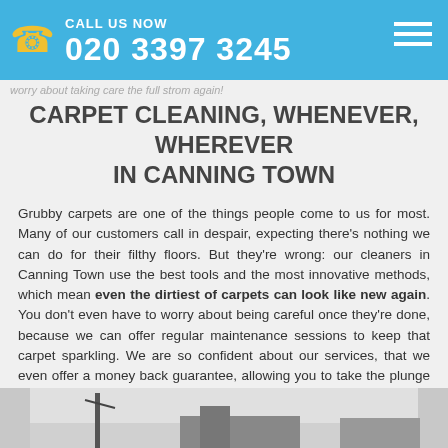CALL US NOW 020 3397 3245
worry about taking care the full strom again!
CARPET CLEANING, WHENEVER, WHEREVER IN CANNING TOWN
Grubby carpets are one of the things people come to us for most. Many of our customers call in despair, expecting there's nothing we can do for their filthy floors. But they're wrong: our cleaners in Canning Town use the best tools and the most innovative methods, which mean even the dirtiest of carpets can look like new again. You don't even have to worry about being careful once they're done, because we can offer regular maintenance sessions to keep that carpet sparkling. We are so confident about our services, that we even offer a money back guarantee, allowing you to take the plunge risk free. Try us today, because seeing believes.
GET TO KNOW CANNING TOWN
[Figure (photo): Partial photo of a street or landmark in Canning Town, partially cropped at the bottom of the page]